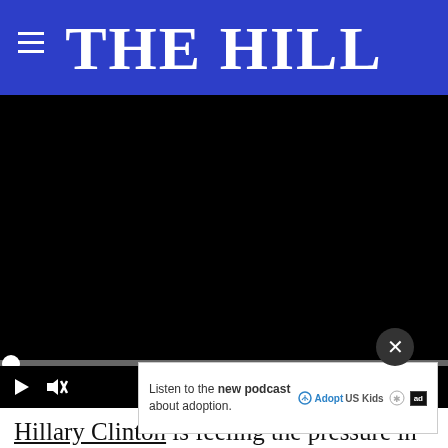THE HILL
[Figure (screenshot): A black video player with a progress bar and playback controls showing 00:00 timestamp, play button, and mute icon.]
Hillary Clinton is feeling the pressure in the race for the White House — even after a strong night
[Figure (other): Advertisement overlay: Listen to the new podcast about adoption. Adopt US Kids logo, ad badge icon.]
Clinton has a huge staff advantage over